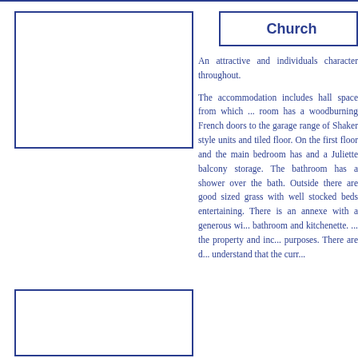Church
[Figure (photo): Photo placeholder box (top left)]
An attractive and indi... character throughout.

The accommodation in... hall space from which ... room has a woodburn... French doors to the ga... range of Shaker style ... and tiled floor. On the f... and the main bedroom... and a Juliette balcony... storage. The bathroom... shower over the bath. Outside there are goo... grass with well stocke... entertaining. There is a... with a generous w... bathroom and kitchene... the property and inc... purposes. There are d... understand that the curr...
[Figure (photo): Photo placeholder box (bottom left)]